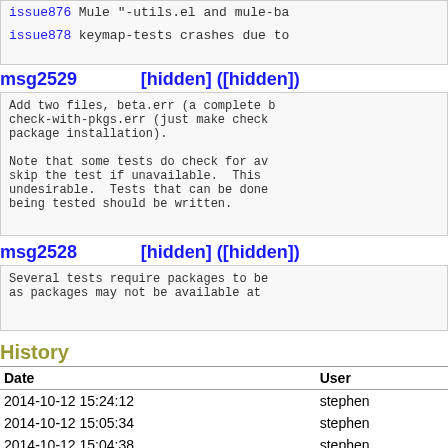issue876 Mule "-utils.el and mule-ba...
issue878 keymap-tests crashes due to...
msg2529    [hidden] ([hidden])
Add two files, beta.err (a complete b...
check-with-pkgs.err (just make check...
package installation).

Note that some tests do check for av...
skip the test if unavailable.  This ...
undesirable.  Tests that can be done...
being tested should be written.
msg2528    [hidden] ([hidden])
Several tests require packages to be...
as packages may not be available at ...
History
| Date | User |
| --- | --- |
| 2014-10-12 15:24:12 | stephen |
| 2014-10-12 15:05:34 | stephen |
| 2014-10-12 15:04:38 | stephen |
| 2014-10-12 15:00:00 | stephen |